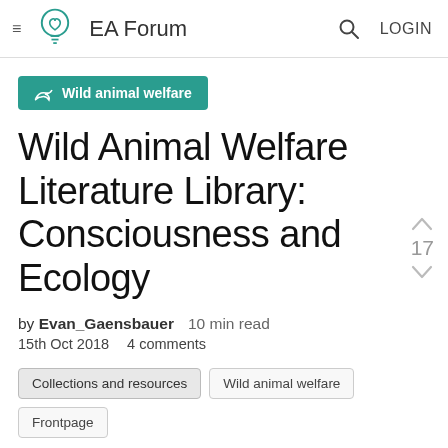EA Forum
Wild animal welfare
Wild Animal Welfare Literature Library: Consciousness and Ecology
by Evan_Gaensbauer   10 min read
15th Oct 2018   4 comments
17
Collections and resources   Wild animal welfare   Frontpage